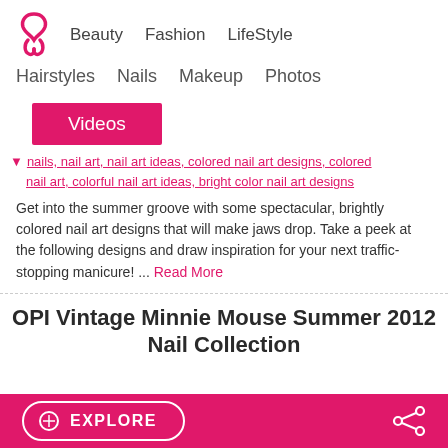Beauty  Fashion  LifeStyle
Hairstyles  Nails  Makeup  Photos
Videos
nails, nail art, nail art ideas, colored nail art designs, colored nail art, colorful nail art ideas, bright color nail art designs
Get into the summer groove with some spectacular, brightly colored nail art designs that will make jaws drop. Take a peek at the following designs and draw inspiration for your next traffic-stopping manicure! ... Read More
OPI Vintage Minnie Mouse Summer 2012 Nail Collection
EXPLORE